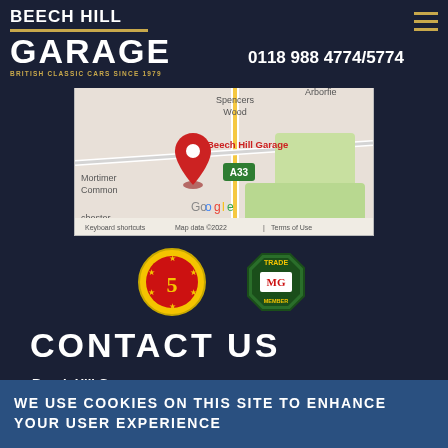BEECH HILL GARAGE - BRITISH CLASSIC CARS SINCE 1979
0118 988 4774/5774
[Figure (map): Google Maps screenshot showing location of Beech Hill Garage near Mortimer Common, Spencers Wood, and A33, with red location pin marker. Map data ©2022. Keyboard shortcuts. Terms of Use.]
[Figure (logo): 5-star Motoring Club badge - yellow circular badge with red/gold star design]
[Figure (logo): MG Cars Trade Member octagonal green badge]
CONTACT US
Beech Hill Garage
Beech Hill Road
WE USE COOKIES ON THIS SITE TO ENHANCE YOUR USER EXPERIENCE